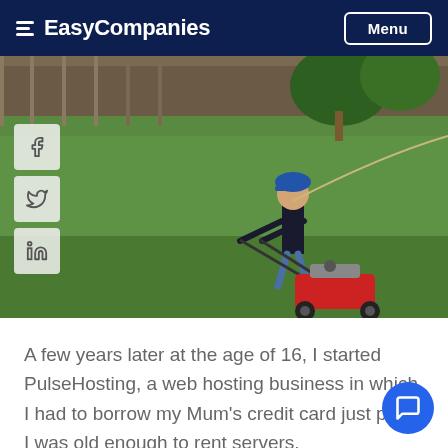EasyCompanies
[Figure (photo): A young boy wearing a blue cap and dark t-shirt pushing a red lawn mower across a green lawn, with a wooden fence and trees in the background. Social media share buttons (Facebook, Twitter, LinkedIn) are overlaid on the left side.]
A few years later at the age of 16, I started PulseHosting, a web hosting business in which I had to borrow my Mum's credit card just to prove I was old enough to rent servers.